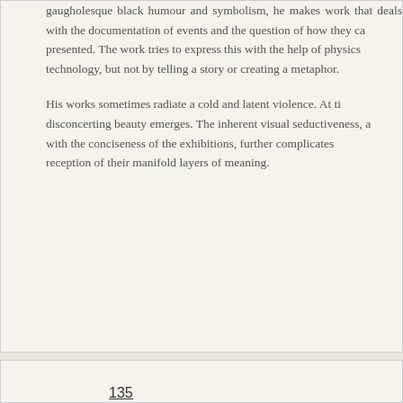gaugholesque black humour and symbolism, he makes work that deals with the documentation of events and the question of how they can be presented. The work tries to express this with the help of physics and technology, but not by telling a story or creating a metaphor.
His works sometimes radiate a cold and latent violence. At times a disconcerting beauty emerges. The inherent visual seductiveness, along with the conciseness of the exhibitions, further complicates the reception of their manifold layers of meaning.
135
Asdfghjkl
Christina
Fukyou